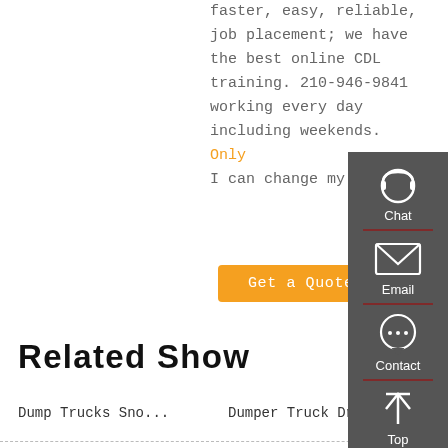faster, easy, reliable, job placement; we have the best online CDL training. 210-946-9841 working every day including weekends. Only I can change my life...
Get a Quote
Related Show
Dump Trucks Sno...
Dumper Truck Dr...
[Figure (infographic): Sidebar with Chat, Email, Contact, and Top icons on dark grey background]